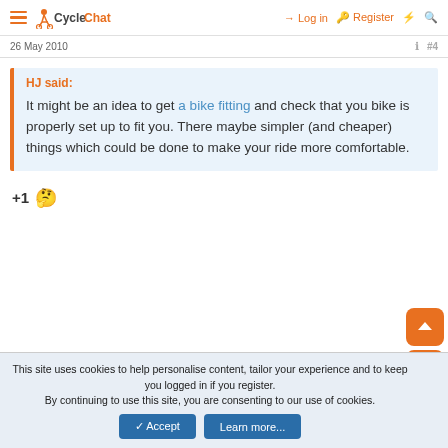CycleChat — Log in | Register
26 May 2010  #4
HJ said:
It might be an idea to get a bike fitting and check that you bike is properly set up to fit you. There maybe simpler (and cheaper) things which could be done to make your ride more comfortable.
+1 🤔
This site uses cookies to help personalise content, tailor your experience and to keep you logged in if you register.
By continuing to use this site, you are consenting to our use of cookies.